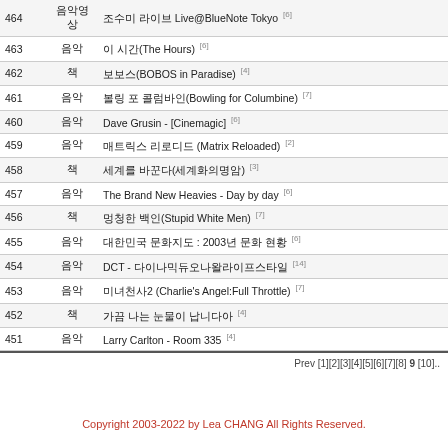| # | 카테고리 | 제목 |
| --- | --- | --- |
| 464 | 음악영상 | 조수미 라이브 Live@BlueNote Tokyo [6] |
| 463 | 음악 | 이 시간(The Hours) [6] |
| 462 | 책 | 보보스(BOBOS in Paradise) [4] |
| 461 | 음악 | 볼링 포 콜럼바인(Bowling for Columbine) [7] |
| 460 | 음악 | Dave Grusin - [Cinemagic] [6] |
| 459 | 음악 | 매트릭스 리로디드 (Matrix Reloaded) [2] |
| 458 | 책 | 세계를 바꾼다(세계화의명암) [3] |
| 457 | 음악 | The Brand New Heavies - Day by day [6] |
| 456 | 책 | 멍청한 백인(Stupid White Men) [7] |
| 455 | 음악 | 대한민국 문화지도 : 2003년 문화 현황 [6] |
| 454 | 음악 | DCT - 다이나믹듀오나왈라이프스타일 [14] |
| 453 | 음악 | 미녀천사2 (Charlie's Angel:Full Throttle) [7] |
| 452 | 책 | 가끔 나는 눈물이 납니다아 [4] |
| 451 | 음악 | Larry Carlton - Room 335 [4] |
Prev [1][2][3][4][5][6][7][8] 9 [10]...
Copyright 2003-2022 by Lea CHANG All Rights Reserved.